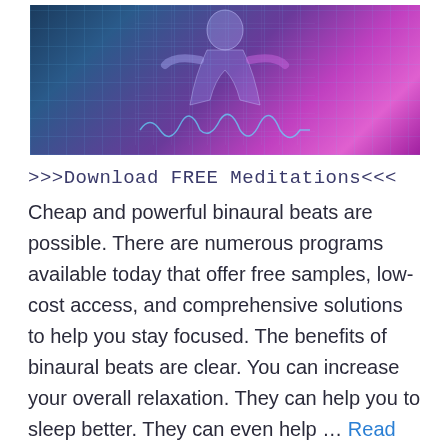[Figure (illustration): A stylized banner image showing a human figure silhouette against a dark background with a grid pattern, rendered in teal/blue and purple/magenta gradient colors, suggesting a brain or meditation theme with a waveform at the bottom.]
>>>Download FREE Meditations<<< Cheap and powerful binaural beats are possible. There are numerous programs available today that offer free samples, low-cost access, and comprehensive solutions to help you stay focused. The benefits of binaural beats are clear. You can increase your overall relaxation. They can help you to sleep better. They can even help … Read more